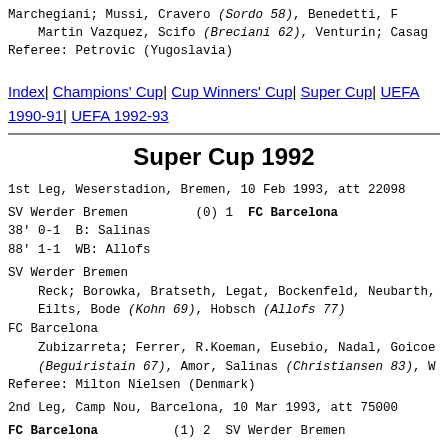Marchegiani; Mussi, Cravero (Sordo 58), Benedetti, F... Martin Vazquez, Scifo (Breciani 62), Venturin; Casag... Referee: Petrovic (Yugoslavia)
Index| Champions' Cup| Cup Winners' Cup| Super Cup| UEFA 1990-91| UEFA 1992-93
Super Cup 1992
1st Leg, Weserstadion, Bremen, 10 Feb 1993, att 22098
SV Werder Bremen (0) 1  FC Barcelona
38' 0-1  B: Salinas
88' 1-1  WB: Allofs
SV Werder Bremen
    Reck; Borowka, Bratseth, Legat, Bockenfeld, Neubarth,
    Eilts, Bode (Kohn 69), Hobsch (Allofs 77)
FC Barcelona
    Zubizarreta; Ferrer, R.Koeman, Eusebio, Nadal, Goicoe...
    (Beguiristain 67), Amor, Salinas (Christiansen 83), W...
Referee: Milton Nielsen (Denmark)
2nd Leg, Camp Nou, Barcelona, 10 Mar 1993, att 75000
FC Barcelona (1) 2  SV Werder Bremen